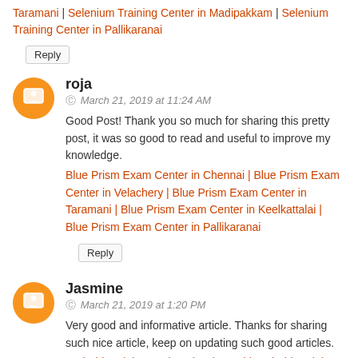Taramani | Selenium Training Center in Madipakkam | Selenium Training Center in Pallikaranai
Reply
roja
March 21, 2019 at 11:24 AM
Good Post! Thank you so much for sharing this pretty post, it was so good to read and useful to improve my knowledge.
Blue Prism Exam Center in Chennai | Blue Prism Exam Center in Velachery | Blue Prism Exam Center in Taramani | Blue Prism Exam Center in Keelkattalai | Blue Prism Exam Center in Pallikaranai
Reply
Jasmine
March 21, 2019 at 1:20 PM
Very good and informative article. Thanks for sharing such nice article, keep on updating such good articles.
Android Training Institute in Chennai | Android Training Institute in Velachery | Android Training Center in